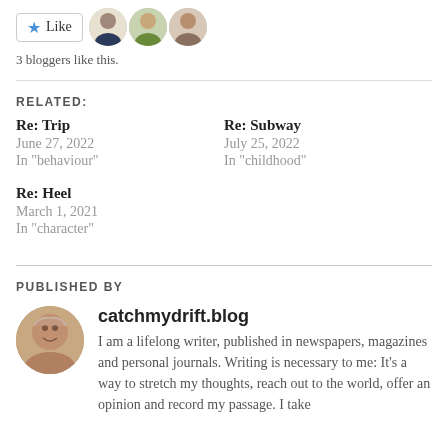[Figure (other): Like button with star icon and three blogger avatars]
3 bloggers like this.
RELATED:
Re: Trip
June 27, 2022
In "behaviour"
Re: Subway
July 25, 2022
In "childhood"
Re: Heel
March 1, 2021
In "character"
PUBLISHED BY
catchmydrift.blog
I am a lifelong writer, published in newspapers, magazines and personal journals. Writing is necessary to me: It's a way to stretch my thoughts, reach out to the world, offer an opinion and record my passage. I take